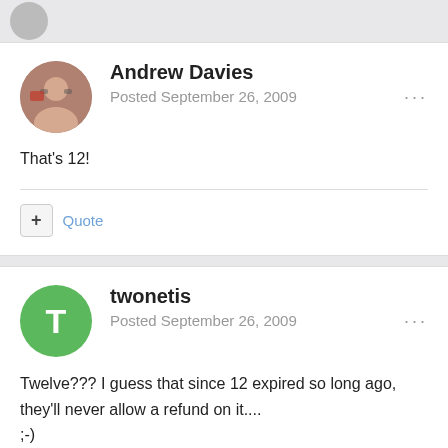Andrew Davies
Posted September 26, 2009
That's 12!
twonetis
Posted September 26, 2009
Twelve??? I guess that since 12 expired so long ago, they'll never allow a refund on it....
;-)